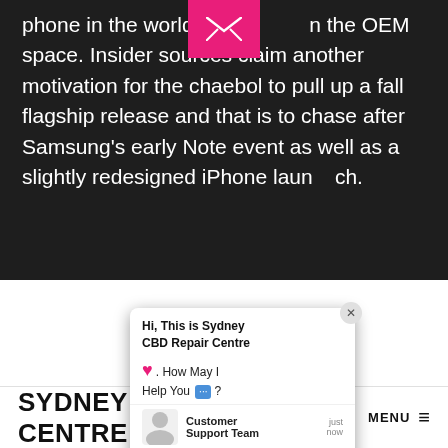phone in the world, much less in the OEM space. Insider sources claim another motivation for the chaebol to pull up a fall flagship release and that is to chase after Samsung's early Note event as well as a slightly redesigned iPhone launch.
By scheduling its hardware launch past that date, Google gets out of the way of its longtime manufacturer partner, LG, clears away any initial release bugs of Nougat and capitalizes on the eve of the holiday sales period.
[Figure (screenshot): Chat widget overlay from Sydney CBD Repair Centre with greeting message 'Hi, This is Sydney CBD Repair Centre. How May I Help You?' and a Customer Support Team avatar, plus a close button and input field.]
[Figure (screenshot): Bottom section showing partial blue arc/logo image on white background above the site footer bar.]
SYDNEY CBD REPAIR CENTRE MENU ≡